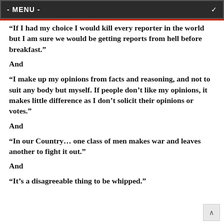- MENU -
“If I had my choice I would kill every reporter in the world but I am sure we would be getting reports from hell before breakfast.”
And
“I make up my opinions from facts and reasoning, and not to suit any body but myself. If people don’t like my opinions, it makes little difference as I don’t solicit their opinions or votes.”
And
“In our Country… one class of men makes war and leaves another to fight it out.”
And
“It’s a disagreeable thing to be whipped.”